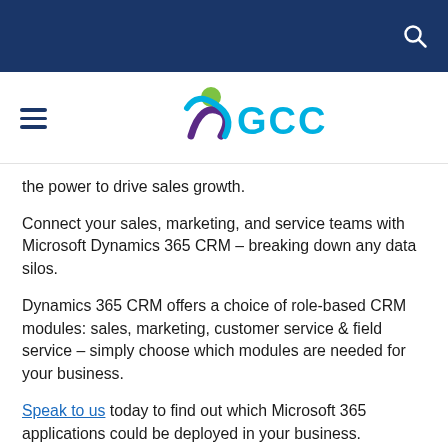GCC logo header with search icon and hamburger menu
the power to drive sales growth.
Connect your sales, marketing, and service teams with Microsoft Dynamics 365 CRM – breaking down any data silos.
Dynamics 365 CRM offers a choice of role-based CRM modules: sales, marketing, customer service & field service – simply choose which modules are needed for your business.
Speak to us today to find out which Microsoft 365 applications could be deployed in your business.